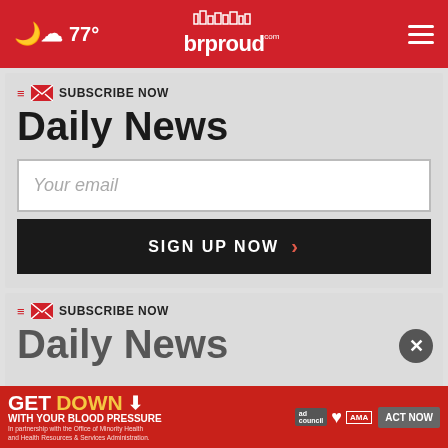🌙☁ 77° | brproud.com | ☰
SUBSCRIBE NOW
Daily News
Your email
SIGN UP NOW
SUBSCRIBE NOW
Daily News
[Figure (screenshot): Ad banner: GET DOWN WITH YOUR BLOOD PRESSURE - In partnership with the Office of Minority Health and Health Resources & Services Administration. ACT NOW. Ad Council, American Heart Association, AMA logos.]